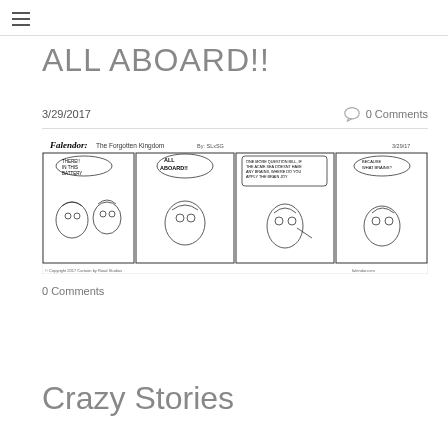≡ (hamburger menu)
ALL ABOARD!!
3/29/2017
0 Comments
[Figure (illustration): Falendor: The Forgotten Kingdom comic strip dated 3/29/17. Four panels showing cartoon characters. Panel 1: 'THERE!! IN THIS BATTERY'. Panel 2: 'ALL ABOARD!!'. Panel 3: 'ONE MORE QUESTION BILL, IF THE ACME SEA DOESNT HAVE ANY BRAINS, WHERE DO YOU APPLY THE BRAIN JOY'. Panel 4: 'BECAUSE WHAT BRAINS?'. Copyright 2017 Cartoon by Road Studios, falendor.com]
0 Comments
Crazy Stories